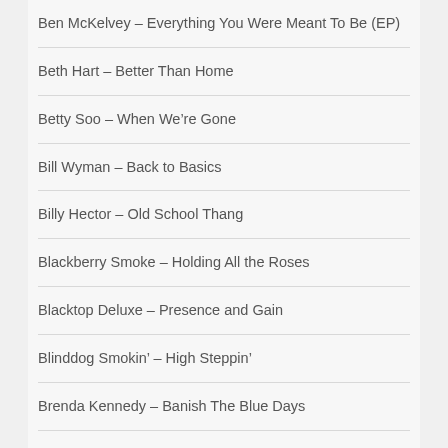Ben McKelvey – Everything You Were Meant To Be (EP)
Beth Hart – Better Than Home
Betty Soo – When We're Gone
Bill Wyman – Back to Basics
Billy Hector – Old School Thang
Blackberry Smoke – Holding All the Roses
Blacktop Deluxe – Presence and Gain
Blinddog Smokin' – High Steppin'
Brenda Kennedy – Banish The Blue Days
Bros. Landreth – Let it Lie